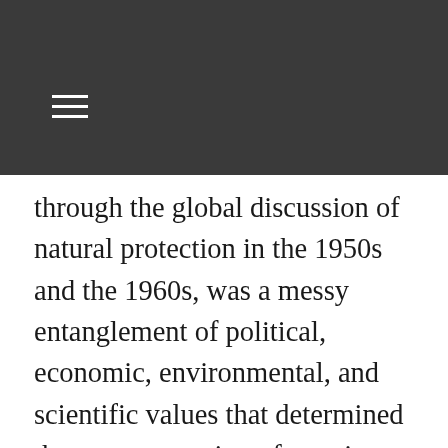≡
through the global discussion of natural protection in the 1950s and the 1960s, was a messy entanglement of political, economic, environmental, and scientific values that determined the state protection of certain species. The fact that the CCP began to concern itself with species extinction, for instance, did not override the Party-states concern with the political and economic value of